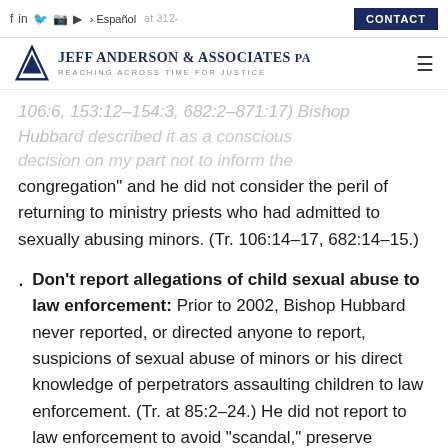Jeff Anderson & Associates PA — Reaching Across Time for Justice | Español | CONTACT
congregation" and he did not consider the peril of returning to ministry priests who had admitted to sexually abusing minors. (Tr. 106:14–17, 682:14–15.)
Don't report allegations of child sexual abuse to law enforcement: Prior to 2002, Bishop Hubbard never reported, or directed anyone to report, suspicions of sexual abuse of minors or his direct knowledge of perpetrators assaulting children to law enforcement. (Tr. at 85:2–24.) He did not report to law enforcement to avoid "scandal," preserve "respect for the priesthood," and protect the reputation of the Church. ( at